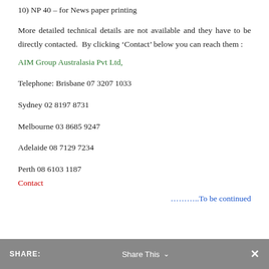10) NP 40  – for News paper printing
More detailed technical details are not available and they have to be directly contacted.  By clicking ‘Contact’ below you can reach them :
AIM Group Australasia Pvt Ltd,
Telephone: Brisbane 07 3207 1033
Sydney 02 8197 8731
Melbourne 03 8685 9247
Adelaide 08 7129 7234
Perth 08 6103 1187
Contact
……………To be continued
SHARE:   Share This   ✕